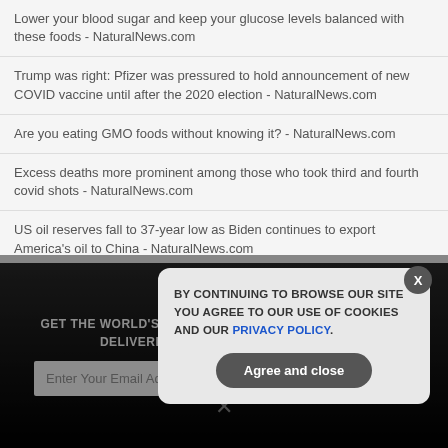Lower your blood sugar and keep your glucose levels balanced with these foods - NaturalNews.com
Trump was right: Pfizer was pressured to hold announcement of new COVID vaccine until after the 2020 election - NaturalNews.com
Are you eating GMO foods without knowing it? - NaturalNews.com
Excess deaths more prominent among those who took third and fourth covid shots - NaturalNews.com
US oil reserves fall to 37-year low as Biden continues to export America's oil to China - NaturalNews.com
GET THE WORLD'S BEST NATURAL HEALTH NEWSLETTER DELIVERED STRAIGHT TO YOUR INBOX
BY CONTINUING TO BROWSE OUR SITE YOU AGREE TO OUR USE OF COOKIES AND OUR PRIVACY POLICY.
Agree and close